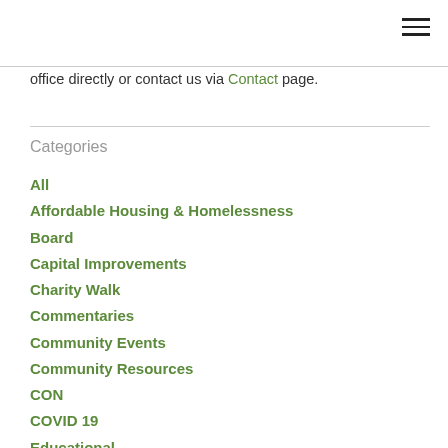office directly or contact us via Contact page.
Categories
All
Affordable Housing & Homelessness
Board
Capital Improvements
Charity Walk
Commentaries
Community Events
Community Resources
CON
COVID 19
Educational
Emergency Planning